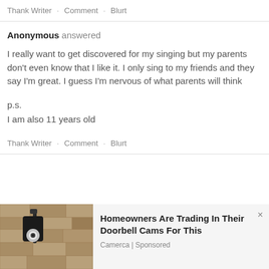Thank Writer · Comment · Blurt
Anonymous answered
I really want to get discovered for my singing but my parents don't even know that I like it. I only sing to my friends and they say I'm great. I guess I'm nervous of what parents will think
p.s.
I am also 11 years old
Thank Writer · Comment · Blurt
[Figure (photo): Photo of a wall-mounted security camera or light fixture on a stone wall, used in an advertisement for doorbell cameras.]
Homeowners Are Trading In Their Doorbell Cams For This
Camerca | Sponsored